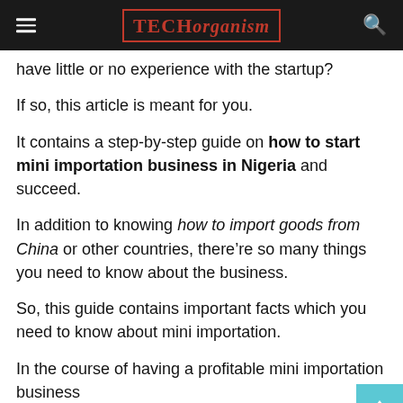TECHorganism
have little or no experience with the startup?
If so, this article is meant for you.
It contains a step-by-step guide on how to start mini importation business in Nigeria and succeed.
In addition to knowing how to import goods from China or other countries, there’re so many things you need to know about the business.
So, this guide contains important facts which you need to know about mini importation.
In the course of having a profitable mini importation business